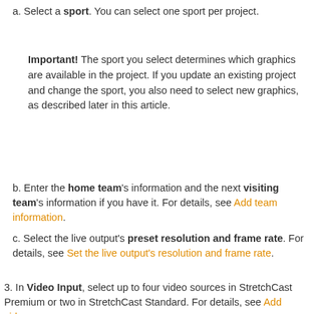a. Select a sport. You can select one sport per project.
Important! The sport you select determines which graphics are available in the project. If you update an existing project and change the sport, you also need to select new graphics, as described later in this article.
b. Enter the home team's information and the next visiting team's information if you have it. For details, see Add team information.
c. Select the live output's preset resolution and frame rate. For details, see Set the live output's resolution and frame rate.
3. In Video Input, select up to four video sources in StretchCast Premium or two in StretchCast Standard. For details, see Add video sources.